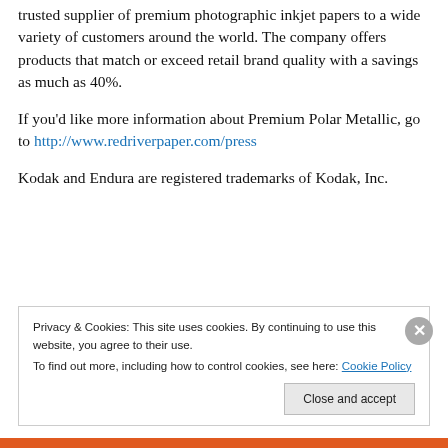trusted supplier of premium photographic inkjet papers to a wide variety of customers around the world. The company offers products that match or exceed retail brand quality with a savings as much as 40%.
If you'd like more information about Premium Polar Metallic, go to http://www.redriverpaper.com/press
Kodak and Endura are registered trademarks of Kodak, Inc.
Privacy & Cookies: This site uses cookies. By continuing to use this website, you agree to their use. To find out more, including how to control cookies, see here: Cookie Policy